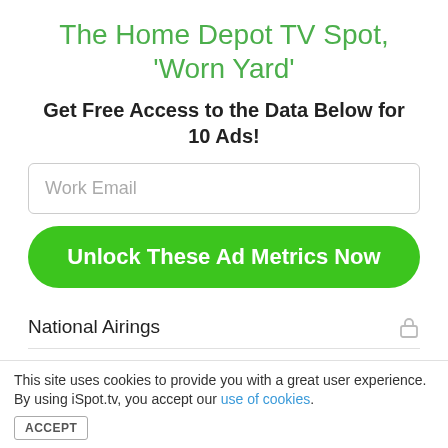The Home Depot TV Spot, 'Worn Yard'
Get Free Access to the Data Below for 10 Ads!
Work Email
Unlock These Ad Metrics Now
National Airings
First Airing
Last Airing
Creatives
This site uses cookies to provide you with a great user experience. By using iSpot.tv, you accept our use of cookies.